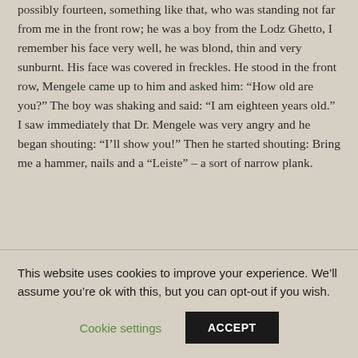possibly fourteen, something like that, who was standing not far from me in the front row; he was a boy from the Lodz Ghetto, I remember his face very well, he was blond, thin and very sunburnt. His face was covered in freckles. He stood in the front row, Mengele came up to him and asked him: “How old are you?” The boy was shaking and said: “I am eighteen years old.” I saw immediately that Dr. Mengele was very angry and he began shouting: “I’ll show you!” Then he started shouting: Bring me a hammer, nails and a “Leiste” – a sort of narrow plank.
This website uses cookies to improve your experience. We’ll assume you’re ok with this, but you can opt-out if you wish.
Cookie settings | ACCEPT